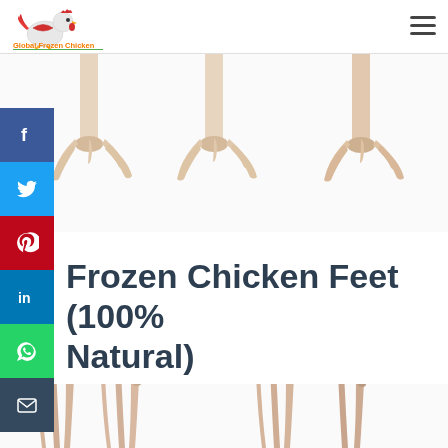[Figure (logo): Global Frozen Chicken logo with red chicken and orange text]
[Figure (photo): Three frozen chicken feet hanging/standing, skin-coloured, top portion of page]
[Figure (infographic): Social media share buttons sidebar: Facebook (blue), Twitter (light blue), Pinterest (red), LinkedIn (blue), WhatsApp (green), Email (dark grey)]
Frozen Chicken Feet (100% Natural)
[Figure (photo): Multiple frozen chicken feet with claws pointing upward, bottom portion of page]